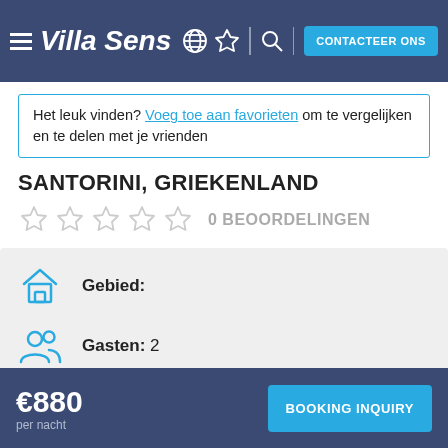Villa Sens
Het leuk vinden? Voeg toe aan favorieten om te vergelijken en te delen met je vrienden
SANTORINI, GRIEKENLAND
0 BEOORDELINGEN
Gebied:
Gasten: 2
€880 per nacht
BOOKING INQUIRY